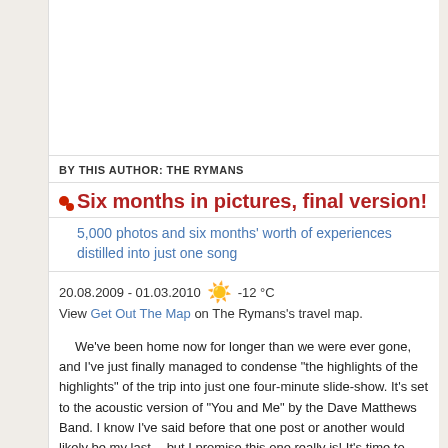[Figure (photo): White image placeholder area at top of article]
BY THIS AUTHOR: THE RYMANS
Six months in pictures, final version!
5,000 photos and six months' worth of experiences distilled into just one song
20.08.2009 - 01.03.2010  ☀  -12 °C
View Get Out The Map on The Rymans's travel map.
We've been home now for longer than we were ever gone, and I've just finally managed to condense "the highlights of the highlights" of the trip into just one four-minute slide-show. It's set to the acoustic version of "You and Me" by the Dave Matthews Band. I know I've said before that one post or another would likely be my last -- but I promise this one really is! It's time to move on and start planning the next trip.